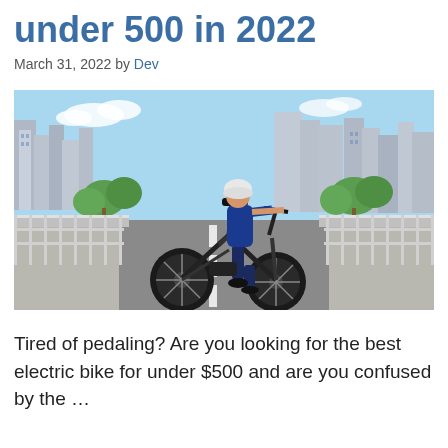under 500 in 2022
March 31, 2022 by Dev
[Figure (photo): Person riding a fat-tire electric bike on a road with cityscape buildings and trees in the background, wearing a white helmet and blue shirt.]
Tired of pedaling? Are you looking for the best electric bike for under $500 and are you confused by the …